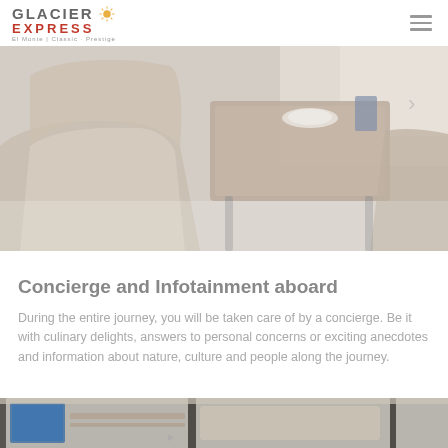GLACIER EXPRESS
[Figure (photo): Interior of Glacier Express train dining car showing cream leather seats and a table set with plate and glassware, panoramic windows visible in background]
Concierge and Infotainment aboard
During the entire journey, you will be taken care of by a concierge. Be it with culinary delights, answers to personal concerns or exciting anecdotes and information about nature, culture and people along the journey.
[Figure (photo): Close-up interior view of Glacier Express train showing electronic display screen and seating area with panoramic windows]